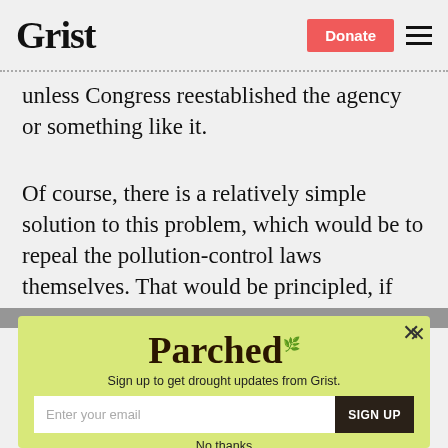Grist | Donate
unless Congress reestablished the agency or something like it.
Of course, there is a relatively simple solution to this problem, which would be to repeal the pollution-control laws themselves. That would be principled, if
[Figure (infographic): Parched newsletter signup modal on lime-yellow background with title 'Parched', subtitle 'Sign up to get drought updates from Grist.', email input field, SIGN UP button, and 'No thanks' link. Close (×) button in top right corner.]